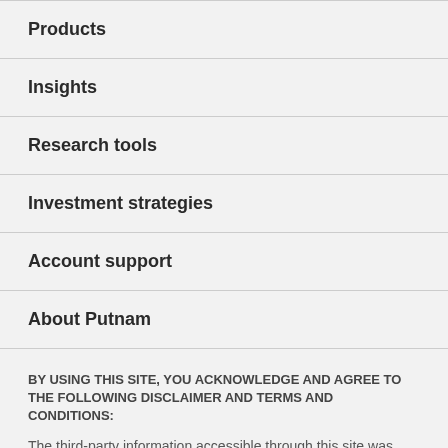Products
Insights
Research tools
Investment strategies
Account support
About Putnam
BY USING THIS SITE, YOU ACKNOWLEDGE AND AGREE TO THE FOLLOWING DISCLAIMER AND TERMS AND CONDITIONS:
The third-party information accessible through this site was